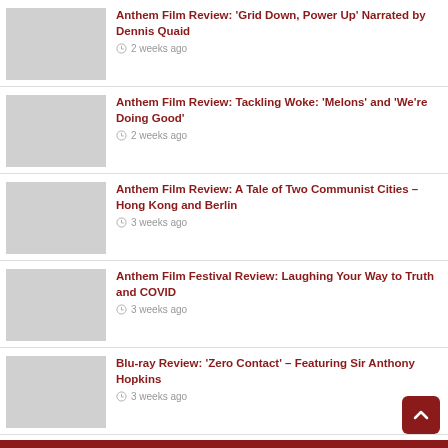Anthem Film Review: ‘Grid Down, Power Up’ Narrated by Dennis Quaid — 2 weeks ago
Anthem Film Review: Tackling Woke: ‘Melons’ and ‘We’re Doing Good’ — 2 weeks ago
Anthem Film Review: A Tale of Two Communist Cities – Hong Kong and Berlin — 3 weeks ago
Anthem Film Festival Review: Laughing Your Way to Truth and COVID — 3 weeks ago
Blu-ray Review: ‘Zero Contact’ – Featuring Sir Anthony Hopkins — 3 weeks ago